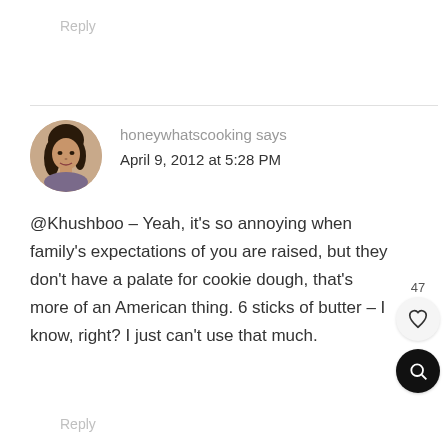Reply
honeywhatscooking says
April 9, 2012 at 5:28 PM
@Khushboo – Yeah, it's so annoying when family's expectations of you are raised, but they don't have a palate for cookie dough, that's more of an American thing. 6 sticks of butter – I know, right? I just can't use that much.
Reply